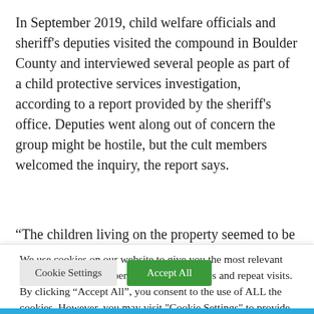In September 2019, child welfare officials and sheriff's deputies visited the compound in Boulder County and interviewed several people as part of a child protective services investigation, according to a report provided by the sheriff's office. Deputies went along out of concern the group might be hostile, but the cult members welcomed the inquiry, the report says.
“The children living on the property seemed to be happy
We use cookies on our website to give you the most relevant experience by remembering your preferences and repeat visits. By clicking “Accept All”, you consent to the use of ALL the cookies. However, you may visit "Cookie Settings" to provide a controlled consent.